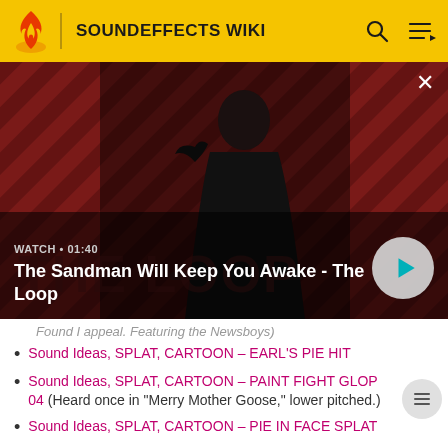SOUNDEFFECTS WIKI
[Figure (screenshot): Video thumbnail for 'The Sandman Will Keep You Awake - The Loop' showing a dark-cloaked figure with a raven on a diagonal striped red and dark background. WATCH • 01:40 label shown with a play button.]
Found I appeal. Featuring the Newsboys)
Sound Ideas, SPLAT, CARTOON – EARL'S PIE HIT
Sound Ideas, SPLAT, CARTOON – PAINT FIGHT GLOP 04 (Heard once in "Merry Mother Goose," lower pitched.)
Sound Ideas, SPLAT, CARTOON – PIE IN FACE SPLAT